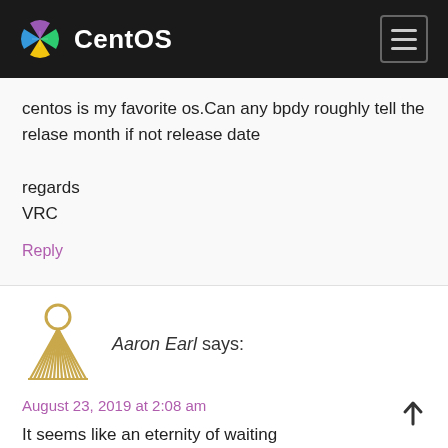CentOS
centos is my favorite os.Can any bpdy roughly tell the relase month if not release date
regards
VRC
Reply
[Figure (illustration): Golden decorative avatar icon resembling a fan or wing shape]
Aaron Earl says:
August 23, 2019 at 2:08 am
It seems like an eternity of waiting